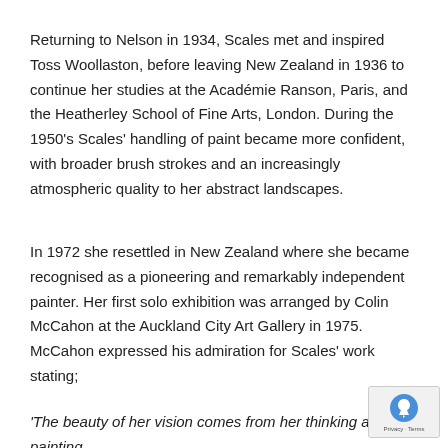Returning to Nelson in 1934, Scales met and inspired Toss Woollaston, before leaving New Zealand in 1936 to continue her studies at the Académie Ranson, Paris, and the Heatherley School of Fine Arts, London. During the 1950's Scales' handling of paint became more confident, with broader brush strokes and an increasingly atmospheric quality to her abstract landscapes.
In 1972 she resettled in New Zealand where she became recognised as a pioneering and remarkably independent painter. Her first solo exhibition was arranged by Colin McCahon at the Auckland City Art Gallery in 1975. McCahon expressed his admiration for Scales' work stating;
'The beauty of her vision comes from her thinking about painting